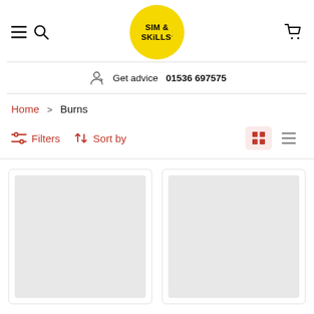[Figure (logo): Sim & Skills logo — yellow circle with bold text SIM & SKILLS in center]
Get advice  01536 697575
Home > Burns
Filters  Sort by
[Figure (screenshot): Two product card placeholders with grey image areas]